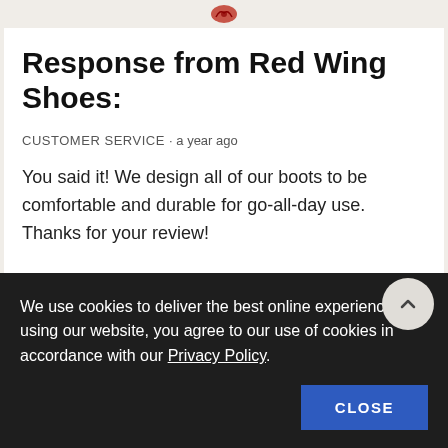Red Wing Shoes logo
Response from Red Wing Shoes:
CUSTOMER SERVICE · a year ago
You said it! We design all of our boots to be comfortable and durable for go-all-day use. Thanks for your review!
We use cookies to deliver the best online experience. By using our website, you agree to our use of cookies in accordance with our Privacy Policy.